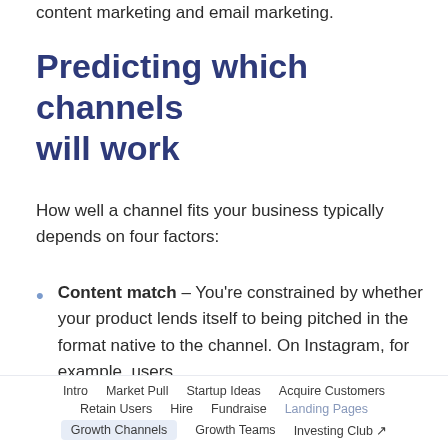content marketing and email marketing.
Predicting which channels will work
How well a channel fits your business typically depends on four factors:
Content match – You're constrained by whether your product lends itself to being pitched in the format native to the channel. On Instagram, for example, users
Intro   Market Pull   Startup Ideas   Acquire Customers   Retain Users   Hire   Fundraise   Landing Pages   Growth Channels   Growth Teams   Investing Club ↗